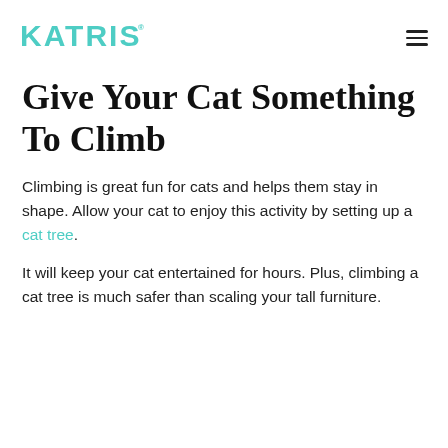Katris
Give Your Cat Something To Climb
Climbing is great fun for cats and helps them stay in shape. Allow your cat to enjoy this activity by setting up a cat tree.
It will keep your cat entertained for hours. Plus, climbing a cat tree is much safer than scaling your tall furniture.